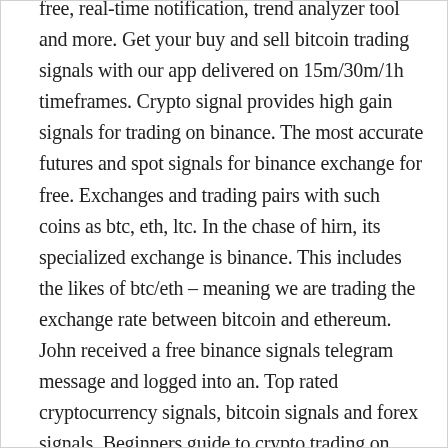free, real-time notification, trend analyzer tool and more. Get your buy and sell bitcoin trading signals with our app delivered on 15m/30m/1h timeframes. Crypto signal provides high gain signals for trading on binance. The most accurate futures and spot signals for binance exchange for free. Exchanges and trading pairs with such coins as btc, eth, ltc. In the chase of hirn, its specialized exchange is binance. This includes the likes of btc/eth – meaning we are trading the exchange rate between bitcoin and ethereum. John received a free binance signals telegram message and logged into an. Top rated cryptocurrency signals, bitcoin signals and forex signals. Beginners guide to crypto trading on binance binance mobile app – a step by step. Receive free trading signals, determinerules and manage your allocation for 30 days for free. 2021 · business & economics. Make use of the profitable market of crypto currencies like bitcoin, bitcoin cash, litecoin, groestlcoin,. #crypto #trading